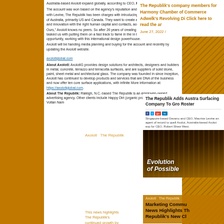Australia-based Axolotl expand globally, according to CEO, Robert Shaw West.
The account was won based on the agency's reputation and billings were not disclosed.
with Levine, The Republik has been charged with introducing surfacing company outside of Australia, primarily US and Canada. They want to create a new culture of creativity, and innovation with the right human capital and contacts, according to Levine.
Ours," Axolotl knows no peers. So after 26 years of creating boundary-pushing they've tasked us with putting them on a fast track to fame in the in the rest of the tremendous opportunity, working with this international design powerhouse.
Axolotl will be handing media planning and buying for the account and recently by updating the Axolotl website.
axolotlglobal.com
About Axolotl: AxolotlG provides design solutions for architects, designers and builders in metal, concrete, terrazzo and terracotta surfaces, and are suppliers of solid stone, paint, sheet metal and architectural glass. The company was founded in 1 since inception, Axolotl has continued to develop products and services that are DNA of the business and now offer ten core surface applications, with infinite More information at: https://axolotlglobal.com.
About The Republik: Raleigh, N.C.-based The Republik is an employee-owned advertising agency. Other clients include Happy Dirt (organic produce), Cloworth Coffee, Voltan Nam
Axolotl  The Republik
News About The Republik Being Named AOR for Axolotl Featured on citybiz.co
This news highlights The Republik's continued growth by sharing news about the newest addition to the agency's client roster—Australian surfacing company Axolotl—read the full article here...
June 9, 2022 (2)
The Republik's company members for Harmony Chamber of Commerce Adwelk's Revolving Di Click here to read the ar
June 27, 2022 /
[Figure (screenshot): Article card: The Republik Adds Australian Surfacing Company To Growing Roster with social share buttons and article snippet, featuring an image with text 'Evolution of Possible']
Axolotl  The Republik
Marketing Commu News Highlights Th Republik's New Cl